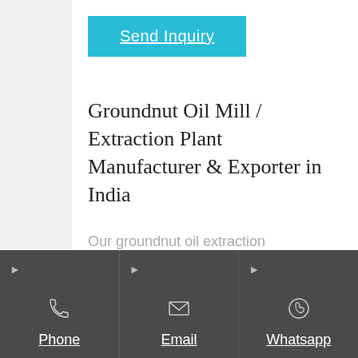Send Inquiry
Groundnut Oil Mill / Extraction Plant Manufacturer & Exporter in India
Our groundnut oil extraction machines are successfully running in India, Nigeria,
Phone  Email  Whatsapp